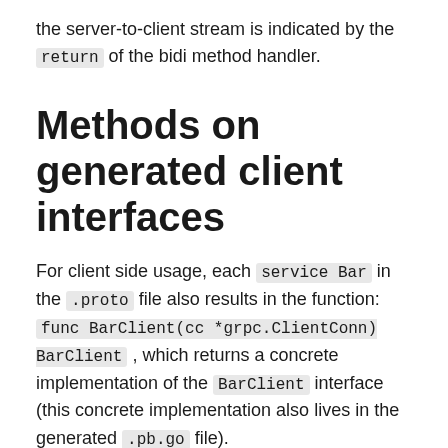the server-to-client stream is indicated by the return of the bidi method handler.
Methods on generated client interfaces
For client side usage, each service Bar in the .proto file also results in the function: func BarClient(cc *grpc.ClientConn) BarClient , which returns a concrete implementation of the BarClient interface (this concrete implementation also lives in the generated .pb.go file).
Unary Methods
These methods have the following signature on the generated client stub: